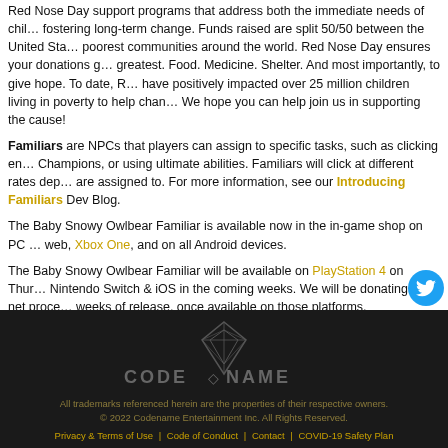Red Nose Day support programs that address both the immediate needs of children fostering long-term change. Funds raised are split 50/50 between the United States and the poorest communities around the world. Red Nose Day ensures your donations go where they're greatest. Food. Medicine. Shelter. And most importantly, to give hope. To date, Red Nose Day have positively impacted over 25 million children living in poverty to help change their lives. We hope you can help join us in supporting the cause!
Familiars are NPCs that players can assign to specific tasks, such as clicking enemies, buffing Champions, or using ultimate abilities. Familiars will click at different rates depending on what they are assigned to. For more information, see our Introducing Familiars Dev Blog.
The Baby Snowy Owlbear Familiar is available now in the in-game shop on PC & Steam, web, Xbox One, and on all Android devices.
The Baby Snowy Owlbear Familiar will be available on PlayStation 4 on Thursday, Nintendo Switch & iOS in the coming weeks. We will be donating the net proceeds for the first 2 weeks of release, once available on those platforms.
[Figure (logo): Codename Entertainment logo — stylized diamond gem icon with CODE◇NAME text in grey on dark background]
All trademarks referenced herein are the properties of their respective owners. © 2022 Codename Entertainment Inc. All Rights Reserved.
Privacy & Terms of Use | Code of Conduct | Contact | COVID-19 Safety Plan